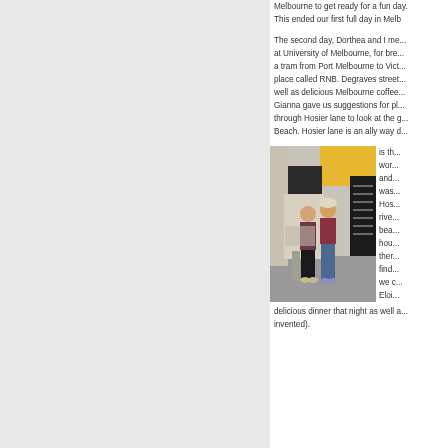Melbourne to get ready for a fun day. This ended our first full day in Melb...
The second day, Dorthea and I me... at University of Melbourne, for bre... a tram from Port Melbourne to Vict... place called RNB. Degraves stree... well as delicious Melbourne coffee... Gianna gave us suggestions for pl... through Hosier lane to look at the g... Beach. Hosier lane is an ally way d...
[Figure (photo): Two women standing together on a busy outdoor shopping lane with cafes and yellow awnings in the background, in Melbourne (Degraves Street area).]
is th... wor... and... was... Hos... rive... bea... hou... ther... find... we c... Eloi...
delicious dinner that night as well a... invented).